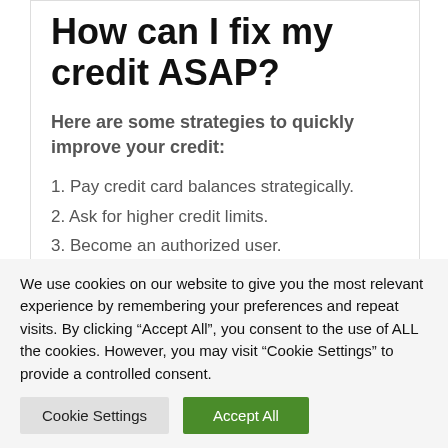How can I fix my credit ASAP?
Here are some strategies to quickly improve your credit:
1. Pay credit card balances strategically.
2. Ask for higher credit limits.
3. Become an authorized user.
4. Pay bills on time.
5. Dispute credit report errors.
We use cookies on our website to give you the most relevant experience by remembering your preferences and repeat visits. By clicking “Accept All”, you consent to the use of ALL the cookies. However, you may visit “Cookie Settings” to provide a controlled consent.